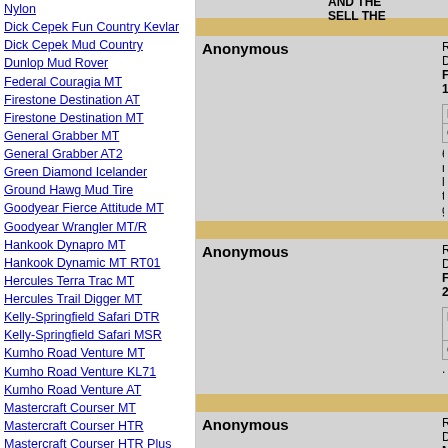Nylon
Dick Cepek Fun Country Kevlar
Dick Cepek Mud Country
Dunlop Mud Rover
Federal Couragia MT
Firestone Destination AT
Firestone Destination MT
General Grabber MT
General Grabber AT2
Green Diamond Icelander
Ground Hawg Mud Tire
Goodyear Fierce Attitude MT
Goodyear Wrangler MT/R
Hankook Dynapro MT
Hankook Dynamic MT RT01
Hercules Terra Trac MT
Hercules Trail Digger MT
Kelly-Springfield Safari DTR
Kelly-Springfield Safari MSR
Kumho Road Venture MT
Kumho Road Venture KL71
Kumho Road Venture AT
Mastercraft Courser MT
Mastercraft Courser HTR
Mastercraft Courser HTR Plus
Maxxis Creepy Crawler
Maxxis Trepador
Maxxis BigHorn Radial
Maxxis Buckshot Mudder
Maxxis MA-SW
AND THE SELL THE
Anonymous
Review Date: February 10
Pros:
Cons:
60,000 mi love to get
Anonymous
Review Date: February 28
Pros: Gre wen
Cons: The
.
Anonymous
Review Date: March 16, 2
Pros: grea
Cons: they
Had these That loud